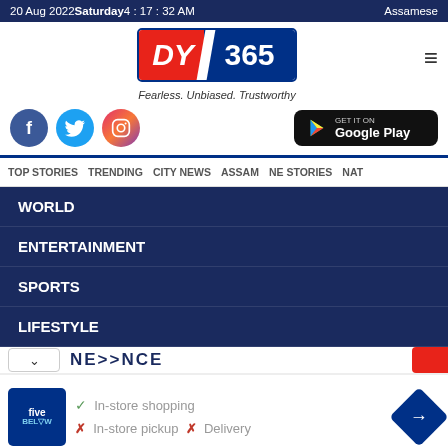20 Aug 2022  Saturday  4 : 17 : 32 AM    Assamese
[Figure (logo): DY365 logo with tagline Fearless. Unbiased. Trustworthy]
[Figure (screenshot): Social media icons (Facebook, Twitter, Instagram) and Get it on Google Play button]
TOP STORIES   TRENDING   CITY NEWS   ASSAM   NE STORIES   NAT
WORLD
ENTERTAINMENT
SPORTS
LIFESTYLE
[Figure (screenshot): Advertisement banner for Five Below store showing: checkmark In-store shopping, X In-store pickup, X Delivery, with Five Below logo and navigation icon]
In-store shopping
In-store pickup × Delivery